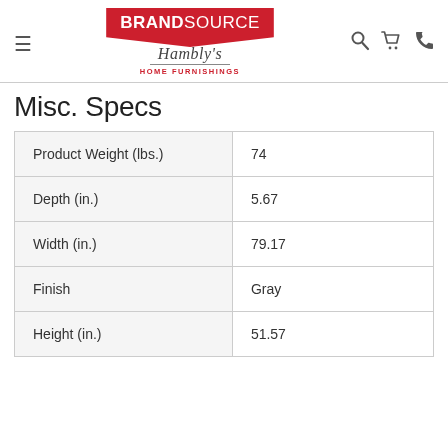[Figure (logo): BrandSource Hambly's Home Furnishings logo with red house-shaped icon and script text]
Misc. Specs
| Product Weight (lbs.) | 74 |
| Depth (in.) | 5.67 |
| Width (in.) | 79.17 |
| Finish | Gray |
| Height (in.) | 51.57 |